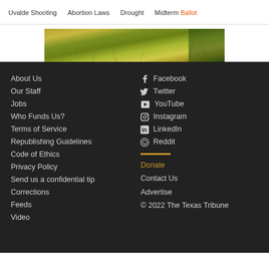Uvalde Shooting   Abortion Laws   Drought   Midterm Ballot
[Figure (photo): Partial cropped aerial or close-up photo of green and yellow grassy field or meadow]
About Us
Our Staff
Jobs
Who Funds Us?
Terms of Service
Republishing Guidelines
Code of Ethics
Privacy Policy
Send us a confidential tip
Corrections
Feeds
Video
Facebook
Twitter
YouTube
Instagram
LinkedIn
Reddit
Donate
Contact Us
Advertise
© 2022 The Texas Tribune